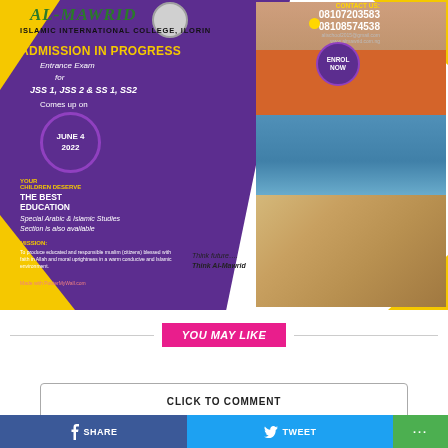[Figure (infographic): Al-Mawrid Islamic International College Ilorin admission advertisement flyer with purple and yellow background, school crest, contact numbers, photos of students and school]
YOU MAY LIKE
CLICK TO COMMENT
SHARE
TWEET
...